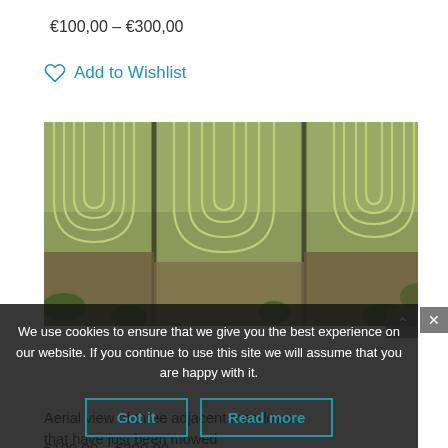€100,00 – €300,00
Add to Wishlist
[Figure (photo): Aerial view of three adjacent meadows/fields that have just been mowed, showing curved mowing patterns from above.]
We use cookies to ensure that we give you the best experience on our website. If you continue to use this site we will assume that you are happy with it.
Aerial view of three adjacent meadows that have just been mowed
€100,00 – €300,00